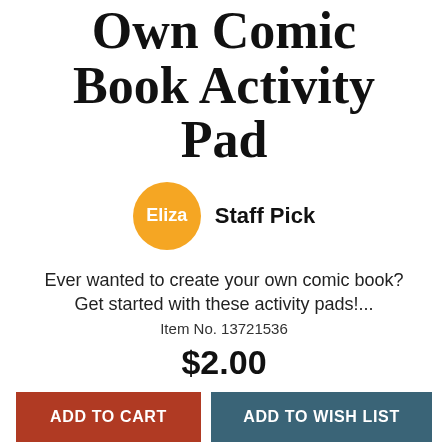Own Comic Book Activity Pad
[Figure (other): Orange circular avatar with text 'Eliza' next to 'Staff Pick' label]
Ever wanted to create your own comic book? Get started with these activity pads!...
Item No. 13721536
$2.00
ADD TO CART  ADD TO WISH LIST
[Figure (illustration): Partial illustration at the bottom with 'ooby' and '3+' labels]